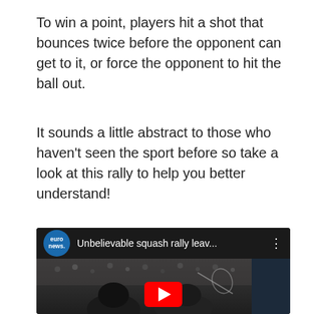To win a point, players hit a shot that bounces twice before the opponent can get to it, or force the opponent to hit the ball out.
It sounds a little abstract to those who haven't seen the sport before so take a look at this rally to help you better understand!
[Figure (screenshot): YouTube video thumbnail showing a squash rally video from euronews channel, titled 'Unbelievable squash rally leav...', with two players on a squash court with audience in background and a YouTube play button overlay.]